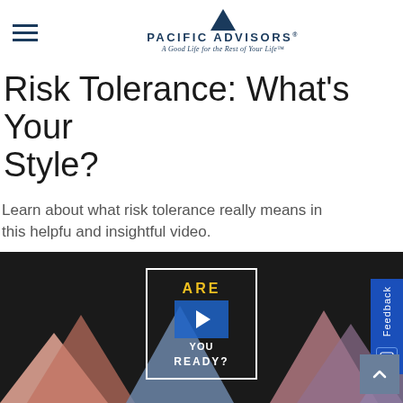[Figure (logo): Pacific Advisors logo with triangle/sail icon and tagline 'A Good Life for the Rest of Your Life']
Risk Tolerance: What's Your Style?
Learn about what risk tolerance really means in this helpful and insightful video.
[Figure (screenshot): Video thumbnail showing 'ARE YOU READY?' text with play button overlay on dark background, with colorful mountain shapes at the bottom]